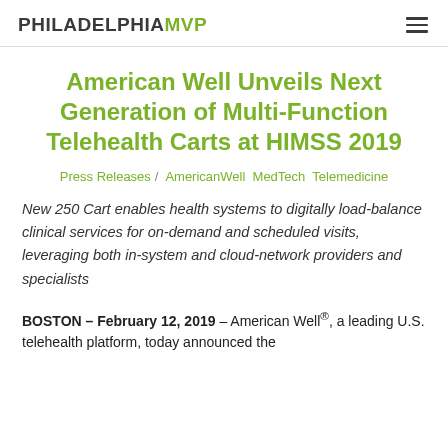PHILADELPHIAMVP
American Well Unveils Next Generation of Multi-Function Telehealth Carts at HIMSS 2019
Press Releases / AmericanWell  MedTech  Telemedicine
New 250 Cart enables health systems to digitally load-balance clinical services for on-demand and scheduled visits, leveraging both in-system and cloud-network providers and specialists
BOSTON – February 12, 2019 – American Well®, a leading U.S. telehealth platform, today announced the